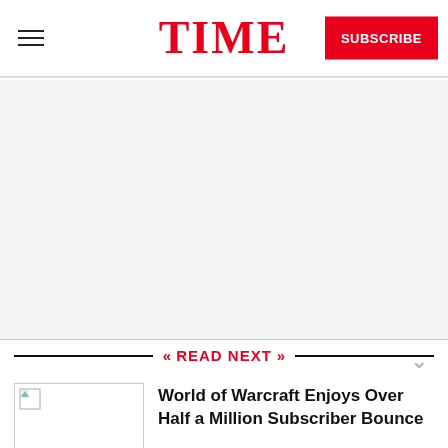TIME
[Figure (other): White/gray blank area, likely an advertisement or image placeholder]
READ NEXT
[Figure (photo): Broken/unloaded thumbnail image for World of Warcraft article]
World of Warcraft Enjoys Over Half a Million Subscriber Bounce